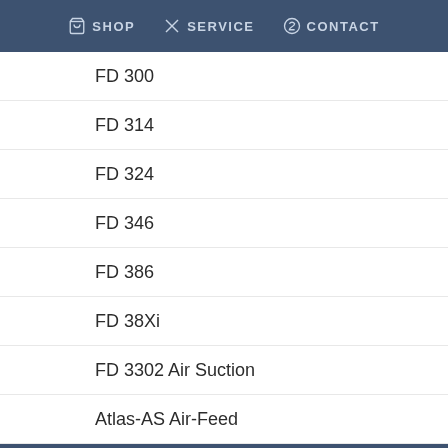SHOP  SERVICE  CONTACT
FD 300
FD 314
FD 324
FD 346
FD 386
FD 38Xi
FD 3302 Air Suction
Atlas-AS Air-Feed
AutoFold Pro
V-Stack36 Vertical Stacker